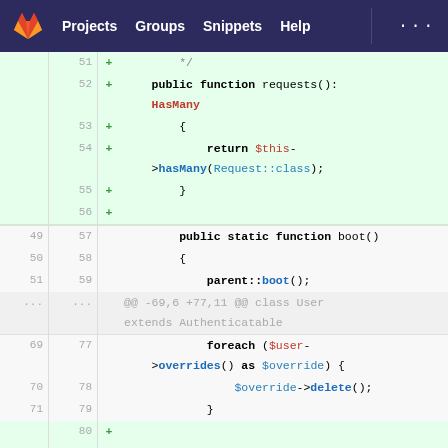GitLab navigation: Projects | Groups | Snippets | Help
[Figure (screenshot): GitLab code diff view showing PHP code with added lines (green) for public function requests() returning HasMany, and context lines for boot(), parent::boot(), foreach loop, and a new docblock comment.]